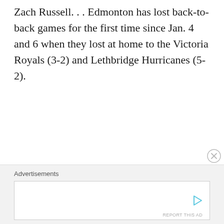Zach Russell. . . Edmonton has lost back-to-back games for the first time since Jan. 4 and 6 when they lost at home to the Victoria Royals (3-2) and Lethbridge Hurricanes (5-2).
Advertisements